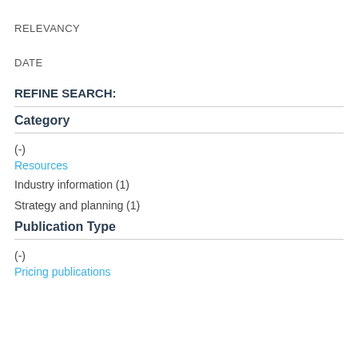RELEVANCY
DATE
REFINE SEARCH:
Category
(-)
Resources
Industry information (1)
Strategy and planning (1)
Publication Type
(-)
Pricing publications